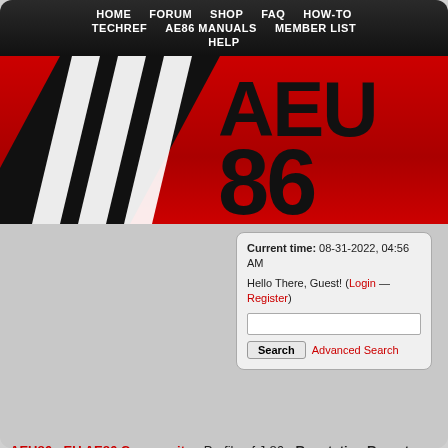HOME  FORUM  SHOP  FAQ  HOW-TO  TECHREF  AE86 MANUALS  MEMBER LIST  HELP
[Figure (logo): AEU86 logo — white diagonal stripes on black chevron shape with large text AEU 86 in black on red background]
Current time: 08-31-2022, 04:56 AM
Hello There, Guest! (Login — Register)
[Search input] Search  Advanced Search
AEU86 : EU AE86 Community - Profile of J-86 - Reputation Report
Reputation Report for J-86